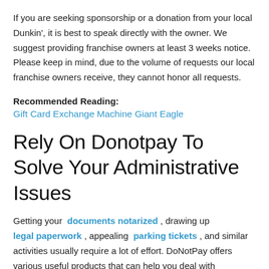If you are seeking sponsorship or a donation from your local Dunkin', it is best to speak directly with the owner. We suggest providing franchise owners at least 3 weeks notice. Please keep in mind, due to the volume of requests our local franchise owners receive, they cannot honor all requests.
Recommended Reading:
Gift Card Exchange Machine Giant Eagle
Rely On Donotpay To Solve Your Administrative Issues
Getting your documents notarized, drawing up legal paperwork, appealing parking tickets, and similar activities usually require a lot of effort. DoNotPay offers various useful products that can help you deal with